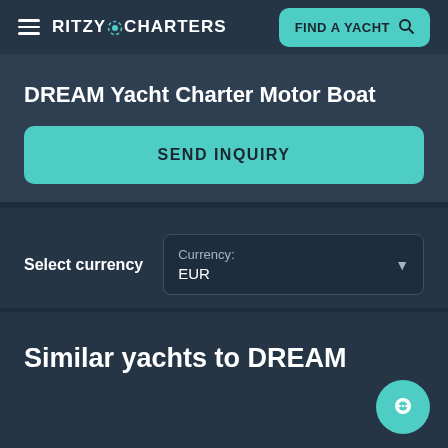RITZY CHARTERS — FIND A YACHT
DREAM Yacht Charter Motor Boat
SEND INQUIRY
Select currency — Currency: EUR
Similar yachts to DREAM